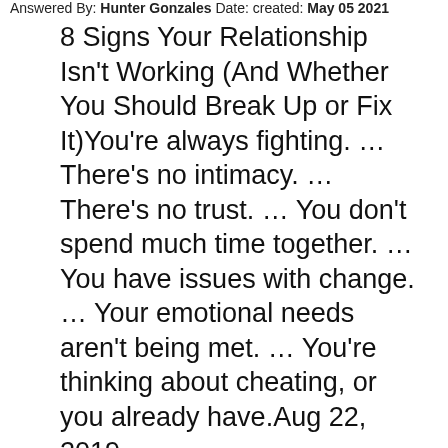Answered By: Hunter Gonzales Date: created: May 05 2021
8 Signs Your Relationship Isn’t Working (And Whether You Should Break Up or Fix It)You’re always fighting. … There’s no intimacy. … There’s no trust. … You don’t spend much time together. … You have issues with change. … Your emotional needs aren’t being met. … You’re thinking about cheating, or you already have.Aug 22, 2019
Asked By: Daniel Mitchell Date: created: Aug 07 2021
What are signs of a toxic relationship
Answered By: Simon Wood Date: created: Aug 09 2021
If you’re in a toxic relationship, you may